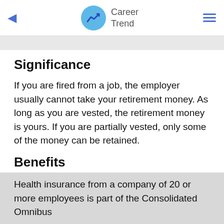Career Trend
Significance
If you are fired from a job, the employer usually cannot take your retirement money. As long as you are vested, the retirement money is yours. If you are partially vested, only some of the money can be retained.
Benefits
Health insurance from a company of 20 or more employees is part of the Consolidated Omnibus